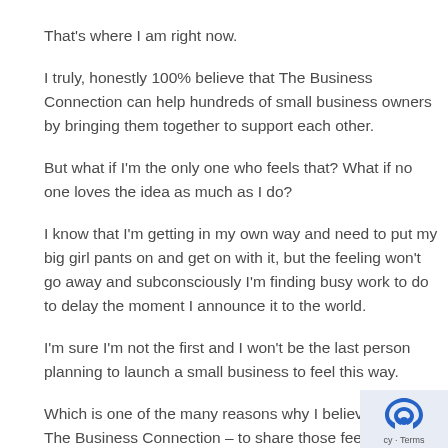That's where I am right now.
I truly, honestly 100% believe that The Business Connection can help hundreds of small business owners by bringing them together to support each other.
But what if I'm the only one who feels that? What if no one loves the idea as much as I do?
I know that I'm getting in my own way and need to put my big girl pants on and get on with it, but the feeling won't go away and subconsciously I'm finding busy work to do to delay the moment I announce it to the world.
I'm sure I'm not the first and I won't be the last person planning to launch a small business to feel this way.
Which is one of the many reasons why I believe we need The Business Connection – to share those feelings and experiences and help guide each other through them so we can get out of our own way and tackle those obstacles